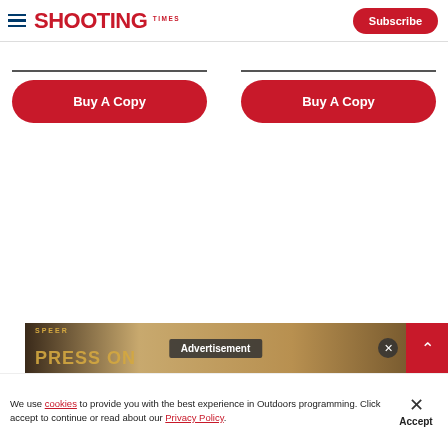SHOOTING TIMES | Subscribe
Buy A Copy | Buy A Copy
[Figure (screenshot): Advertisement banner showing Speer Press On text over ammunition background]
We use cookies to provide you with the best experience in Outdoors programming. Click accept to continue or read about our Privacy Policy.